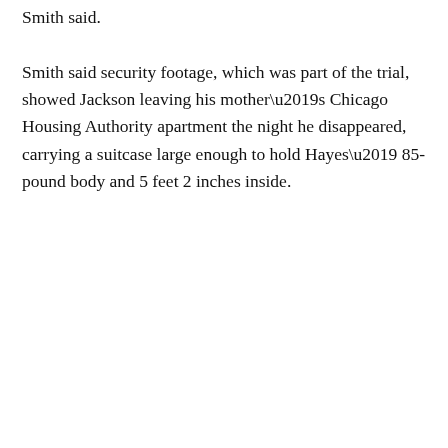Smith said.
Smith said security footage, which was part of the trial, showed Jackson leaving his mother’s Chicago Housing Authority apartment the night he disappeared, carrying a suitcase large enough to hold Hayes’ 85-pound body and 5 feet 2 inches inside.